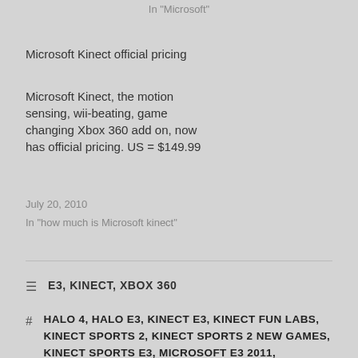In "Microsoft"
Microsoft Kinect official pricing
Microsoft Kinect, the motion sensing, wii-beating, game changing Xbox 360 add on, now has official pricing. US = $149.99
July 20, 2010
In "how much is Microsoft kinect"
E3, KINECT, XBOX 360
HALO 4, HALO E3, KINECT E3, KINECT FUN LABS, KINECT SPORTS 2, KINECT SPORTS 2 NEW GAMES, KINECT SPORTS E3, MICROSOFT E3 2011, MICROSOFT E3 INFO, XBOX 360 E3